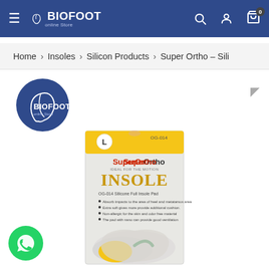BIOFOOT online Store – navigation header with hamburger menu, logo, search, account, and cart icons
Home > Insoles > Silicon Products > Super Ortho – Sili
[Figure (logo): BIOFOOT online Store circular blue logo with foot icon]
[Figure (photo): SuperOrtho Insole product package – OG-014 Silicone Full Insole Pad, size L, showing insole with yellow heel pad and green arch support, labeled INSOLE in gold letters]
[Figure (other): Green WhatsApp contact button in bottom left corner]